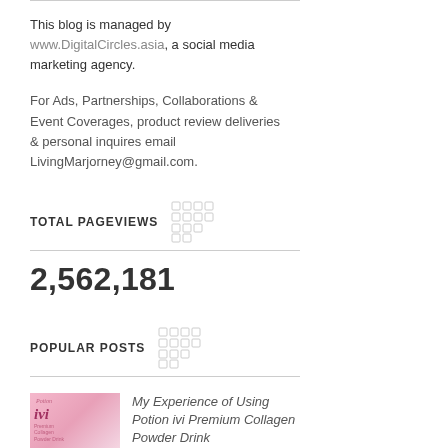This blog is managed by www.DigitalCircles.asia, a social media marketing agency.
For Ads, Partnerships, Collaborations & Event Coverages, product review deliveries & personal inquires email LivingMarjorney@gmail.com.
TOTAL PAGEVIEWS
2,562,181
POPULAR POSTS
My Experience of Using Potion ivi Premium Collagen Powder Drink
On September 18, I blogged about Potion ivi Collagen...